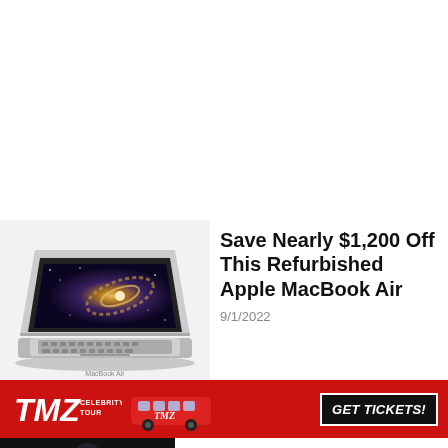[Figure (photo): Apple MacBook Air laptop computer shown open at an angle, with galaxy/space wallpaper on screen, silver aluminum body]
Save Nearly $1,200 Off This Refurbished Apple MacBook Air
9/1/2022
[Figure (other): TMZ Celebrity Tour advertisement banner with red background, TMZ logo, tour bus image, and GET TICKETS! button]
[Figure (photo): Partial image at bottom left showing a dark road or street scene]
Timmy Trumpet Plays